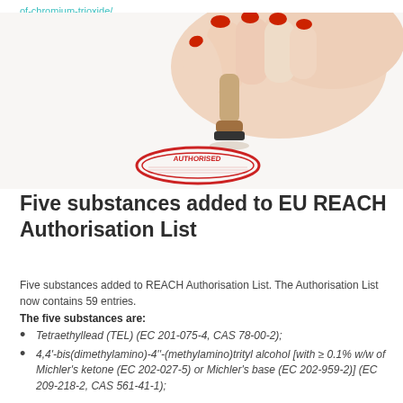of-chromium-trioxide/
[Figure (photo): A hand holding a rubber stamp over a red 'AUTHORIZED' stamp impression on a white background.]
Five substances added to EU REACH Authorisation List
Five substances added to REACH Authorisation List. The Authorisation List now contains 59 entries.
The five substances are:
Tetraethyllead (TEL) (EC 201-075-4, CAS 78-00-2);
4,4'-bis(dimethylamino)-4''-(methylamino)trityl alcohol [with ≥ 0.1% w/w of Michler's ketone (EC 202-027-5) or Michler's base (EC 202-959-2)] (EC 209-218-2, CAS 561-41-1);
Reaction products of 1,3,4-thiadiazolidine-2,5-dithione, formaldehyde and 4-heptylphenol,